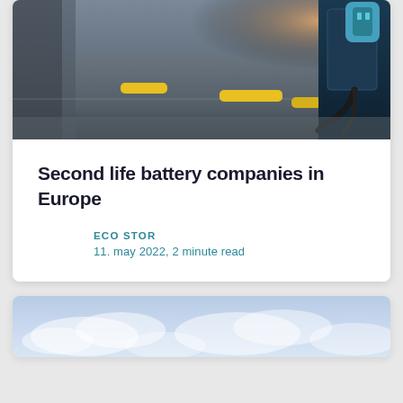[Figure (photo): EV charging station in a parking garage with yellow parking bumpers on the floor and an electric vehicle charger with cable on the right side. Warm orange light in the background.]
Second life battery companies in Europe
ECO STOR
11. may 2022, 2 minute read
[Figure (photo): Blue cloudy sky viewed from below, with soft white clouds against a blue gradient background.]